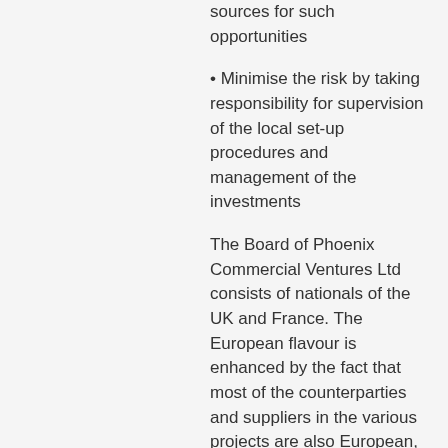sources for such opportunities
Minimise the risk by taking responsibility for supervision of the local set-up procedures and management of the investments
The Board of Phoenix Commercial Ventures Ltd consists of nationals of the UK and France. The European flavour is enhanced by the fact that most of the counterparties and suppliers in the various projects are also European, and the DPRK government views Phoenix Commercial Ventures as a prime conduit for European business and investment in the DPRK.
One of the directors of Phoenix Commercial Ventures was also CEO and General Manager of